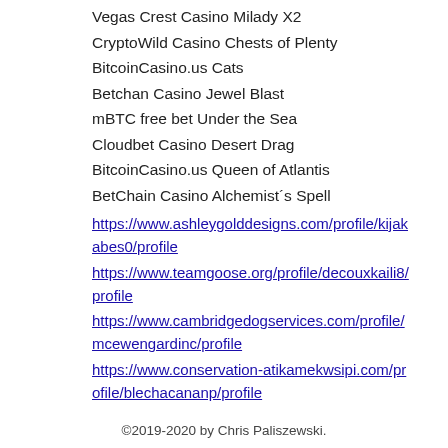Vegas Crest Casino Milady X2
CryptoWild Casino Chests of Plenty
BitcoinCasino.us Cats
Betchan Casino Jewel Blast
mBTC free bet Under the Sea
Cloudbet Casino Desert Drag
BitcoinCasino.us Queen of Atlantis
BetChain Casino Alchemist´s Spell
https://www.ashleygolddesigns.com/profile/kijakabes0/profile
https://www.teamgoose.org/profile/decouxkaili8/profile
https://www.cambridgedogservices.com/profile/mcewengardinc/profile
https://www.conservation-atikamekwsipi.com/profile/blechacananp/profile
©2019-2020 by Chris Paliszewski.